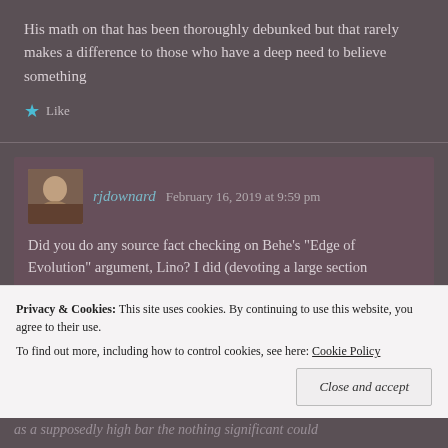His math on that has been thoroughly debunked but that rarely makes a difference to those who have a deep need to believe something
Like
rjdownard  February 16, 2019 at 9:59 pm
Did you do any source fact checking on Behe's "Edge of Evolution" argument, Lino? I did (devoting a large section
Privacy & Cookies: This site uses cookies. By continuing to use this website, you agree to their use.
To find out more, including how to control cookies, see here: Cookie Policy
Close and accept
as a supposedly high bar the nothing significant could